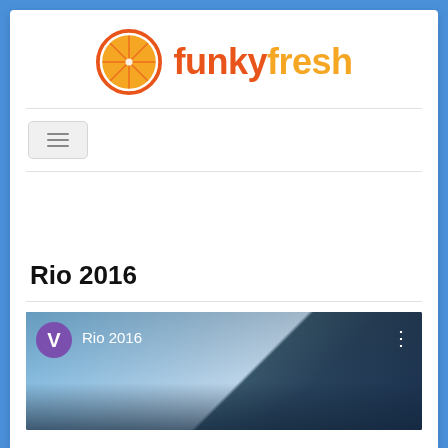[Figure (logo): Funky Fresh logo: orange slice icon with orange text 'funkyfresh']
[Figure (screenshot): Hamburger menu navigation button (three horizontal lines) on a light gray background]
Rio 2016
[Figure (screenshot): Article card image showing sky and building with 'V' purple avatar icon and overlay text 'Rio 2016' with three-dots menu]